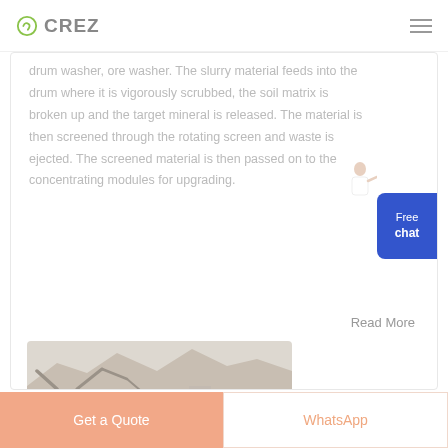CREZ
drum washer, ore washer. The slurry material feeds into the drum where it is vigorously scrubbed, the soil matrix is broken up and the target mineral is released. The material is then screened through the rotating screen and waste is ejected. The screened material is then passed on to the concentrating modules for upgrading.
Read More
[Figure (photo): Industrial quarry/mining site photograph showing mountains in background and heavy processing equipment, conveyor belts, and industrial structures in foreground]
Get a Quote
WhatsApp